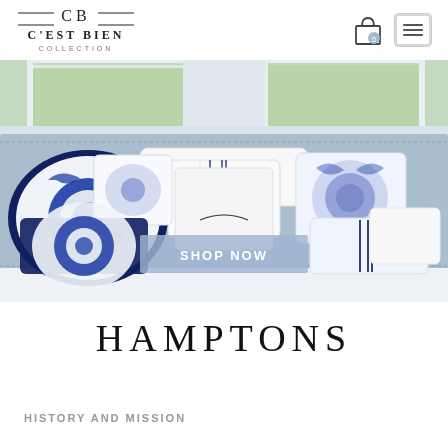[Figure (logo): CB C'EST BIEN COLLECTION logo with decorative lines]
[Figure (illustration): Shopping cart icon with badge showing 0]
[Figure (illustration): Hamburger menu icon]
[Figure (photo): Bedroom photo showing white and blue decorative pillows on a light blue upholstered bed headboard with windows in background. A 'SHOP NOW' button overlay is in the center.]
HAMPTONS
HISTORY AND MISSION